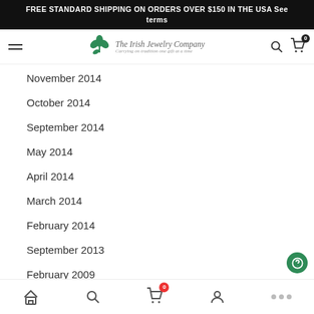FREE STANDARD SHIPPING ON ORDERS OVER $150 IN THE USA See terms
[Figure (logo): The Irish Jewelry Company logo with shamrock and tagline 'Carrying on tradition one gift at a time']
November 2014
October 2014
September 2014
May 2014
April 2014
March 2014
February 2014
September 2013
February 2009
November 2008